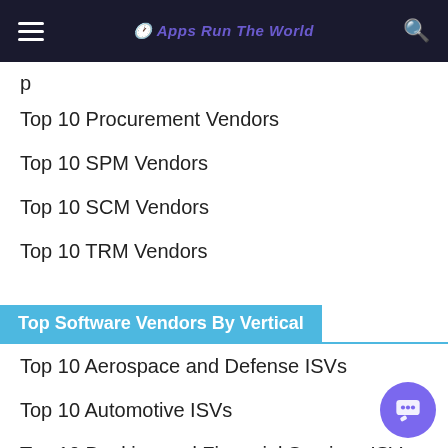Apps Run The World
p
Top 10 Procurement Vendors
Top 10 SPM Vendors
Top 10 SCM Vendors
Top 10 TRM Vendors
Top Software Vendors By Vertical
Top 10 Aerospace and Defense ISVs
Top 10 Automotive ISVs
Top 10 Banking and Financial Services ISVs
Top 10 Consumer Packaged Goods ISVs
Top 10 Communications ISVs
Top 10 Construction and Real Estate ISVs